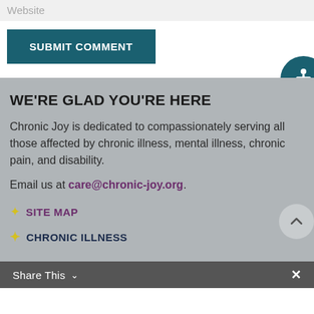Website
SUBMIT COMMENT
WE'RE GLAD YOU'RE HERE
Chronic Joy is dedicated to compassionately serving all those affected by chronic illness, mental illness, chronic pain, and disability.
Email us at care@chronic-joy.org.
SITE MAP
CHRONIC ILLNESS
Share This  ×